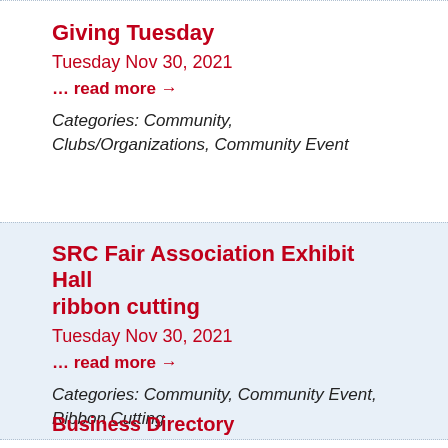Giving Tuesday
Tuesday Nov 30, 2021
... read more →
Categories: Community, Clubs/Organizations, Community Event
SRC Fair Association Exhibit Hall ribbon cutting
Tuesday Nov 30, 2021
... read more →
Categories: Community, Community Event, Ribbon Cutting
Business Directory